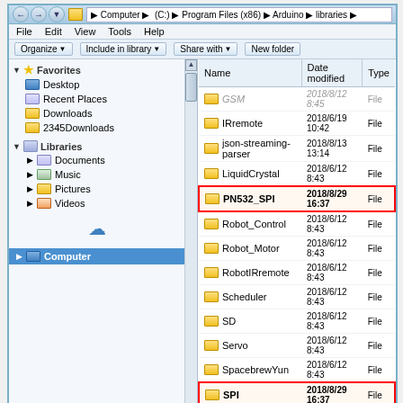[Figure (screenshot): Windows Explorer window showing Arduino libraries folder at C:\Program Files (x86)\Arduino\libraries. Left pane shows Favorites (Desktop, Recent Places, Downloads, 2345Downloads), Libraries (Documents, Music, Pictures, Videos), cloud icon, and Computer. Right pane lists library folders including GSM, IRremote, json-streaming-parser, LiquidCrystal, PN532_SPI (highlighted in red box), Robot_Control, Robot_Motor, RobotIRremote, Scheduler, SD, Servo, SpacebrewYun, SPI (highlighted in red box), Stepper, Temboo, TFT. Bottom shows 27 items and a large folder icon. File dates shown as 2018/6/12 8:43, 2018/6/19 10:42, 2018/8/13 13:14, 2018/8/29 16:37.]